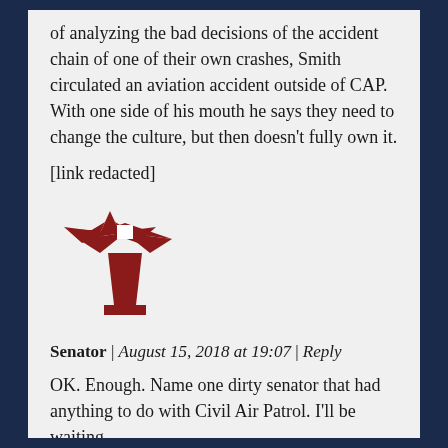of analyzing the bad decisions of the accident chain of one of their own crashes, Smith circulated an aviation accident outside of CAP. With one side of his mouth he says they need to change the culture, but then doesn't fully own it.
[link redacted]
[Figure (illustration): Red lighthouse icon/avatar used as comment profile picture]
Senator | August 15, 2018 at 19:07 | Reply
OK. Enough. Name one dirty senator that had anything to do with Civil Air Patrol. I'll be waiting.
[Figure (illustration): Red lighthouse icon/avatar, partially visible at bottom of page]